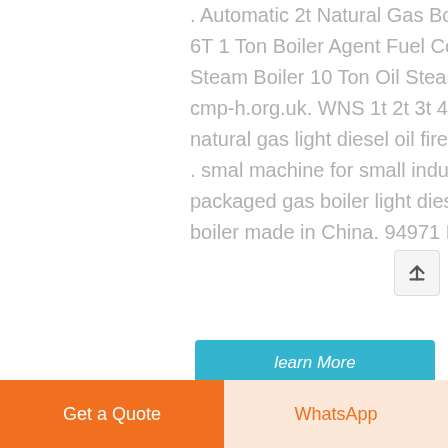. Automatic 2t Natural Gas Boiler Bhutan. 6T 1 Ton Boiler Agent Fuel Consumption Steam Boiler 10 Ton Oil Steam Boiler - cmp-h.org.uk. WNS 1t 2t 3t 4t 6t 8t 10t natural gas light diesel oil fired steam boiler . smal machine for small industries packaged gas boiler light diesel oil 6t steam boiler made in China. 94971 Results ...
learn More
Get a Quote
WhatsApp